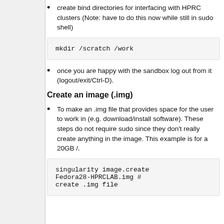create bind directories for interfacing with HPRC clusters (Note: have to do this now while still in sudo shell)
mkdir /scratch /work
once you are happy with the sandbox log out from it (logout/exit/Ctrl-D).
Create an image (.img)
To make an .img file that provides space for the user to work in (e.g. download/install software). These steps do not require sudo since they don't really create anything in the image. This example is for a 20GB /.
singularity image.create Fedora28-HPRCLAB.img # create .img file